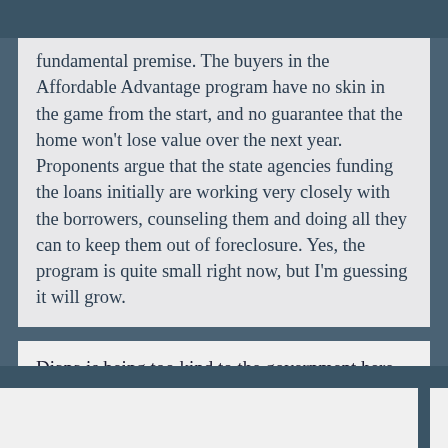fundamental premise. The buyers in the Affordable Advantage program have no skin in the game from the start, and no guarantee that the home won't lose value over the next year. Proponents argue that the state agencies funding the loans initially are working very closely with the borrowers, counseling them and doing all they can to keep them out of foreclosure. Yes, the program is quite small right now, but I'm guessing it will grow.
Diana is being too kind to the government here. The arguments for the program are not really persuasive.